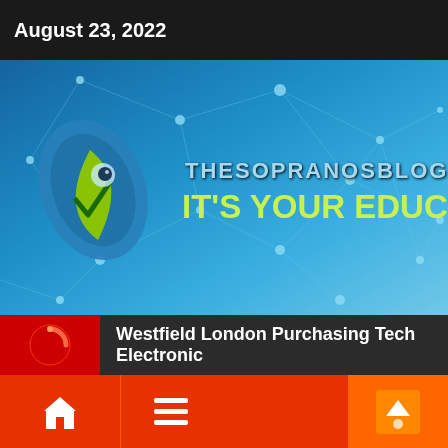August 23, 2022
[Figure (logo): TheSopranosBlog 'It's Your Education' banner logo on blue network background with a stylized fish/leaf icon on the left]
Westfield London Purchasing Tech Electronic
[Figure (infographic): Bottom navigation bar with home icon, hamburger menu icon, and scroll-to-top button on red/orange background]